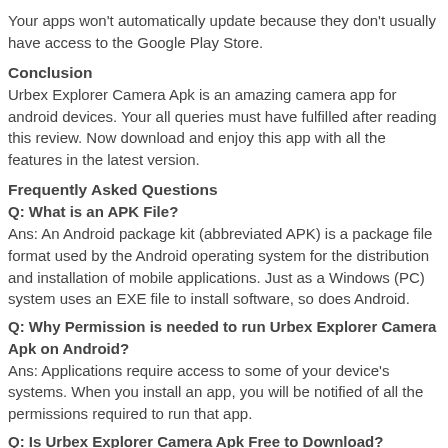Your apps won't automatically update because they don't usually have access to the Google Play Store.
Conclusion
Urbex Explorer Camera Apk is an amazing camera app for android devices. Your all queries must have fulfilled after reading this review. Now download and enjoy this app with all the features in the latest version.
Frequently Asked Questions
Q: What is an APK File?
Ans: An Android package kit (abbreviated APK) is a package file format used by the Android operating system for the distribution and installation of mobile applications. Just as a Windows (PC) system uses an EXE file to install software, so does Android.
Q: Why Permission is needed to run Urbex Explorer Camera Apk on Android?
Ans: Applications require access to some of your device's systems. When you install an app, you will be notified of all the permissions required to run that app.
Q: Is Urbex Explorer Camera Apk Free to Download?
Ans: Yes. Urbex Explorer Camera – Abandoned places explore  APK For...